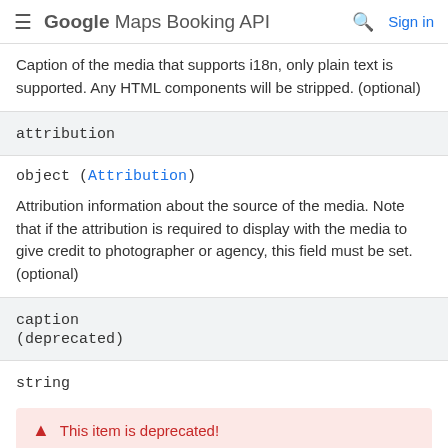Google Maps Booking API
Caption of the media that supports i18n, only plain text is supported. Any HTML components will be stripped. (optional)
attribution
object (Attribution)
Attribution information about the source of the media. Note that if the attribution is required to display with the media to give credit to photographer or agency, this field must be set. (optional)
caption
(deprecated)
string
This item is deprecated!
Deprecated, prefer to use localizedCaption.